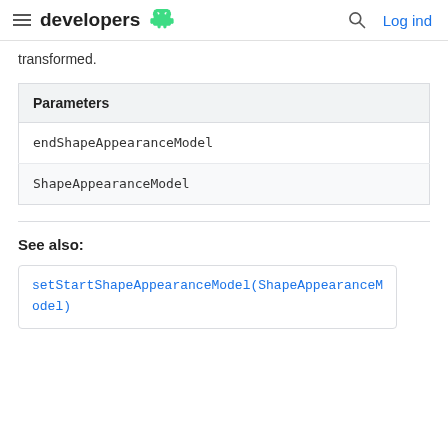developers  Log ind
transformed.
| Parameters |
| --- |
| endShapeAppearanceModel |
| ShapeAppearanceModel |
See also:
setStartShapeAppearanceModel(ShapeAppearanceModel)